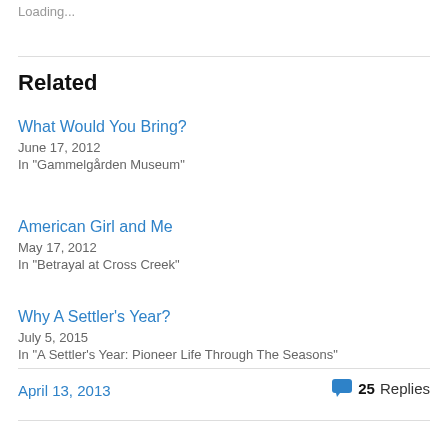Loading...
Related
What Would You Bring?
June 17, 2012
In "Gammelgården Museum"
American Girl and Me
May 17, 2012
In "Betrayal at Cross Creek"
Why A Settler's Year?
July 5, 2015
In "A Settler's Year: Pioneer Life Through The Seasons"
April 13, 2013
25 Replies